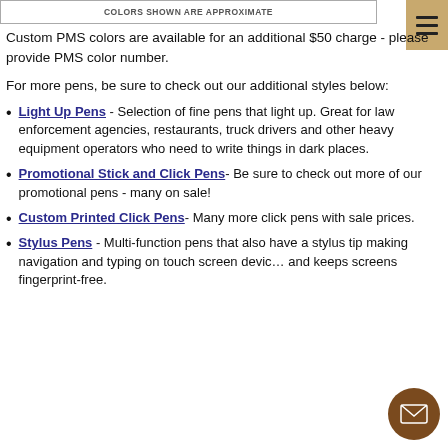[Figure (other): A label box reading COLORS SHOWN ARE APPROXIMATE]
Custom PMS colors are available for an additional $50 charge - please provide PMS color number.
For more pens, be sure to check out our additional styles below:
Light Up Pens - Selection of fine pens that light up. Great for law enforcement agencies, restaurants, truck drivers and other heavy equipment operators who need to write things in dark places.
Promotional Stick and Click Pens- Be sure to check out more of our promotional pens - many on sale!
Custom Printed Click Pens- Many more click pens with sale prices.
Stylus Pens - Multi-function pens that also have a stylus tip making navigation and typing on touch screen devices and keeps screens fingerprint-free.